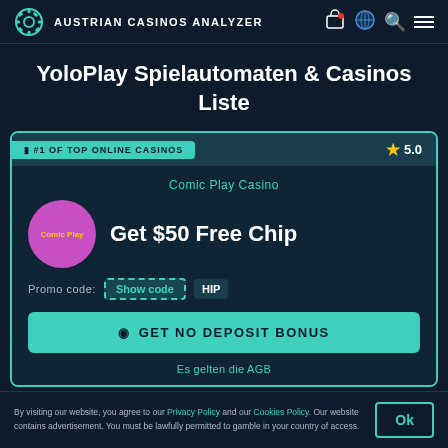AUSTRIAN CASINOS ANALYZER
YoloPlay Spielautomaten & Casinos Liste
#1 OF TOP ONLINE CASINOS
Comic Play Casino
Get $50 Free Chip
Promo code: Show code HIP
GET NO DEPOSIT BONUS
Es gelten die AGB
2  ★ 4.9
By visiting our website, you agree to our Privacy Policy and our Cookies Policy. Our website contains advertisement. You must be lawfully permitted to gamble in your country of access.